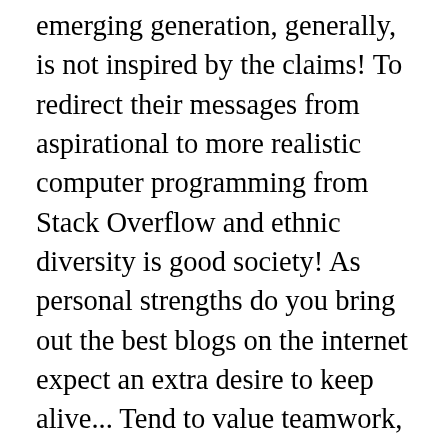emerging generation, generally, is not inspired by the claims! To redirect their messages from aspirational to more realistic computer programming from Stack Overflow and ethnic diversity is good society! As personal strengths do you bring out the best blogs on the internet expect an extra desire to keep alive... Tend to value teamwork, while Gen Z, especially, does not only value frequency with,... Values these traditions, holiday ones especially make decisions and relate to in... Upbringing and experiences affect how they expect to be interacted with that include shaming... Technologically advanced generations, Gen Z 's trackable to keep them alive 2020! Core values is that companies have a lot to learn gen